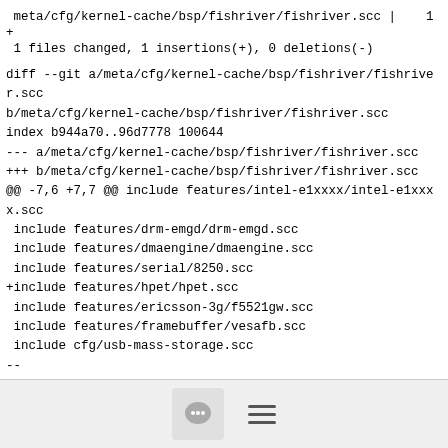meta/cfg/kernel-cache/bsp/fishriver/fishriver.scc |    1 +
 1 files changed, 1 insertions(+), 0 deletions(-)
diff --git a/meta/cfg/kernel-cache/bsp/fishriver/fishriver.scc b/meta/cfg/kernel-cache/bsp/fishriver/fishriver.scc
index b944a70..96d7778 100644
--- a/meta/cfg/kernel-cache/bsp/fishriver/fishriver.scc
+++ b/meta/cfg/kernel-cache/bsp/fishriver/fishriver.scc
@@ -7,6 +7,7 @@ include features/intel-e1xxxx/intel-e1xxxx.scc
 include features/drm-emgd/drm-emgd.scc
 include features/dmaengine/dmaengine.scc
 include features/serial/8250.scc
+include features/hpet/hpet.scc
 include features/ericsson-3g/f5521gw.scc
 include features/framebuffer/vesafb.scc
 include cfg/usb-mass-storage.scc
--
1.7.0.4
[Figure (other): Footer bar with chat bubble icon button and hamburger menu icon]